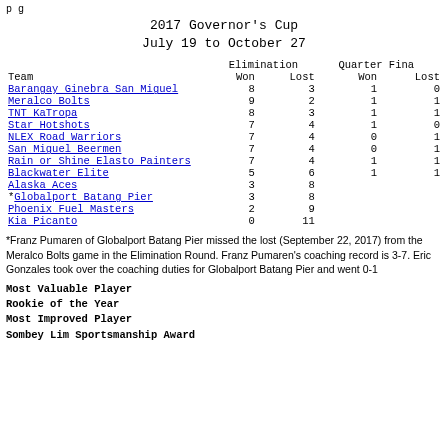p g
2017 Governor's Cup
July 19 to October 27
| Team | Elimination Won | Elimination Lost | Quarter Won | Finals Lost |
| --- | --- | --- | --- | --- |
| Barangay Ginebra San Miguel | 8 | 3 | 1 | 0 |
| Meralco Bolts | 9 | 2 | 1 | 1 |
| TNT KaTropa | 8 | 3 | 1 | 1 |
| Star Hotshots | 7 | 4 | 1 | 0 |
| NLEX Road Warriors | 7 | 4 | 0 | 1 |
| San Miguel Beermen | 7 | 4 | 0 | 1 |
| Rain or Shine Elasto Painters | 7 | 4 | 1 | 1 |
| Blackwater Elite | 5 | 6 | 1 | 1 |
| Alaska Aces | 3 | 8 |  |  |
| *Globalport Batang Pier | 3 | 8 |  |  |
| Phoenix Fuel Masters | 2 | 9 |  |  |
| Kia Picanto | 0 | 11 |  |  |
*Franz Pumaren of Globalport Batang Pier missed the lost (September 22, 2017) from the Meralco Bolts game in the Elimination Round. Franz Pumaren's coaching record is 3-7. Eric Gonzales took over the coaching duties for Globalport Batang Pier and went 0-1
Most Valuable Player
Rookie of the Year
Most Improved Player
Sombey Lim Sportsmanship Award